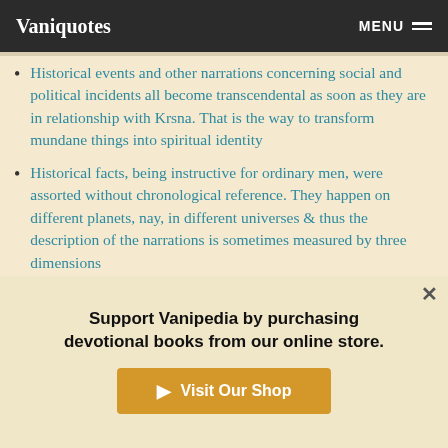Vaniquotes | MENU
Historical events and other narrations concerning social and political incidents all become transcendental as soon as they are in relationship with Krsna. That is the way to transform mundane things into spiritual identity
Historical facts, being instructive for ordinary men, were assorted without chronological reference. They happen on different planets, nay, in different universes & thus the description of the narrations is sometimes measured by three dimensions
Historically, the Agarwalas came from the up-country named Ayodha, and the suvarna-vanik community also
Support Vanipedia by purchasing devotional books from our online store.
▶ Visit Our Shop